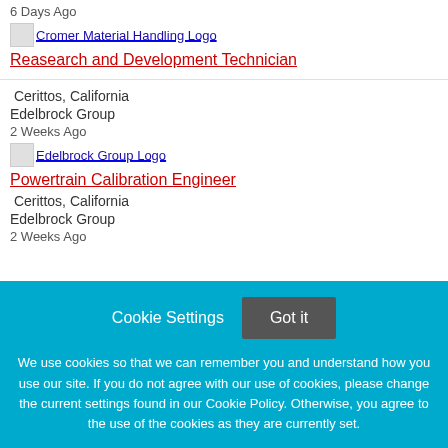6 Days Ago
[Figure (logo): Cromer Material Handling Logo (small image placeholder with link text)]
Reasearch and Development Technician
Cerittos, California
Edelbrock Group
2 Weeks Ago
[Figure (logo): Edelbrock Group Logo (small image placeholder with link text)]
Powertrain Calibration Engineer
Cerittos, California
Edelbrock Group
2 Weeks Ago
Cookie Settings
Got it
We use cookies so that we can remember you and understand how you use our site. If you do not agree with our use of cookies, please change the current settings found in our Cookie Policy. Otherwise, you agree to the use of the cookies as they are currently set.